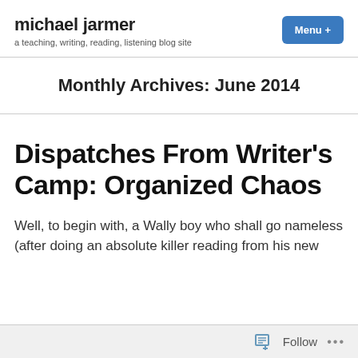michael jarmer
a teaching, writing, reading, listening blog site
Monthly Archives: June 2014
Dispatches From Writer's Camp: Organized Chaos
Well, to begin with, a Wally boy who shall go nameless (after doing an absolute killer reading from his new
Follow ...